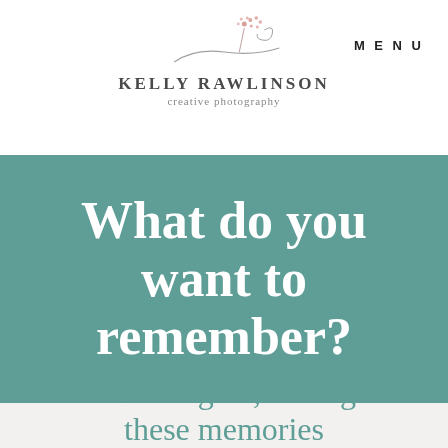[Figure (logo): Kelly Rawlinson creative photography logo with floral/dandelion swirl graphic above the brand name]
MENU
What do you want to remember?
Just imagine, having these memories